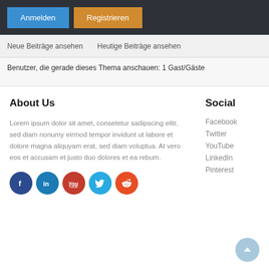Anmelden | Registrieren
Neue Beiträge ansehen   Heutige Beiträge ansehen
Benutzer, die gerade dieses Thema anschauen: 1 Gast/Gäste
About Us
Lorem ipsum dolor sit amet, consetetur sadipscing elitr, sed diam nonumy eirmod tempor invidunt ut labore et dolore magna aliquyam erat, sed diam voluptua. At vero eos et accusam et justo duo dolores et ea rebum.
[Figure (infographic): Row of 5 social media icon circles: Facebook (dark blue), LinkedIn (blue), YouTube (red), Twitter (light blue), Reddit (orange-red)]
Social
Facebook
Twitter
YouTube
LinkedIn
Pinterest